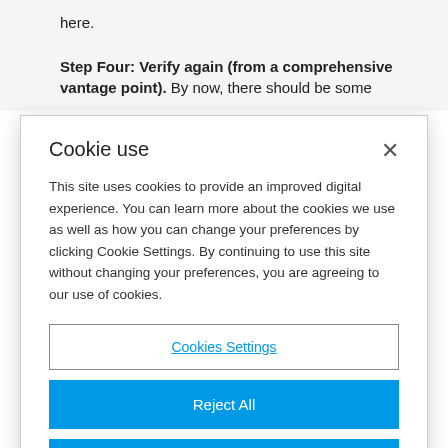Step Four: Verify again (from a comprehensive vantage point). By now, there should be some
Cookie use
This site uses cookies to provide an improved digital experience. You can learn more about the cookies we use as well as how you can change your preferences by clicking Cookie Settings. By continuing to use this site without changing your preferences, you are agreeing to our use of cookies.
Cookies Settings
Reject All
Accept Cookies